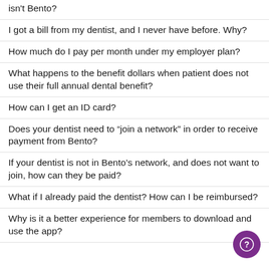isn't Bento?
I got a bill from my dentist, and I never have before. Why?
How much do I pay per month under my employer plan?
What happens to the benefit dollars when patient does not use their full annual dental benefit?
How can I get an ID card?
Does your dentist need to “join a network” in order to receive payment from Bento?
If your dentist is not in Bento’s network, and does not want to join, how can they be paid?
What if I already paid the dentist? How can I be reimbursed?
Why is it a better experience for members to download and use the app?